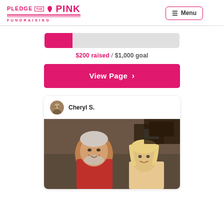[Figure (logo): Pledge The Pink Fundraising logo in pink/magenta with ribbon icon]
≡ Menu
[Figure (infographic): Progress bar showing $200 raised out of $1,000 goal, pink filled portion on left, gray unfilled on right]
$200 raised / $1,000 goal
View Page ›
[Figure (photo): Profile card for Cheryl S. with avatar photo and below it a photo of a man in red shirt and a woman smiling in a restaurant/bar setting]